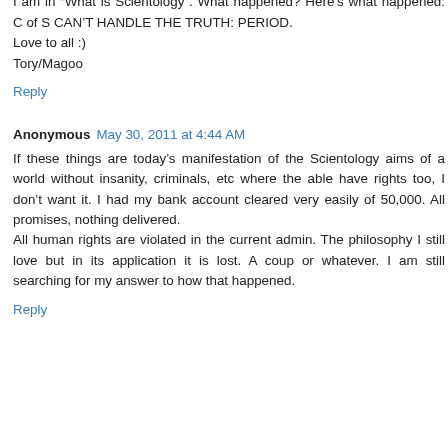cleared within 4 minutes of my stepping on the street? I am in "What is Scientology". What happened? Here's what happened: C of S CAN'T HANDLE THE TRUTH: PERIOD.
Love to all :)
Tory/Magoo
Reply
Anonymous  May 30, 2011 at 4:44 AM
If these things are today's manifestation of the Scientology aims of a world without insanity, criminals, etc where the able have rights too, I don't want it. I had my bank account cleared very easily of 50,000. All promises, nothing delivered.
All human rights are violated in the current admin. The philosophy I still love but in its application it is lost. A coup or whatever. I am still searching for my answer to how that happened.
Reply